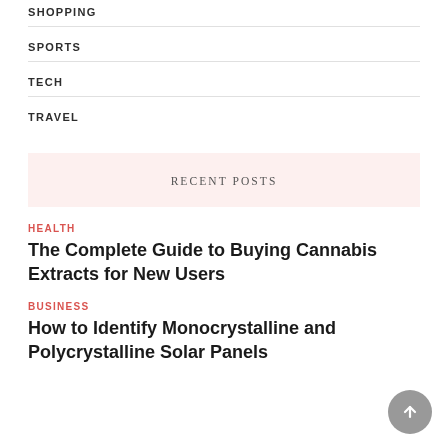SHOPPING
SPORTS
TECH
TRAVEL
RECENT POSTS
HEALTH
The Complete Guide to Buying Cannabis Extracts for New Users
BUSINESS
How to Identify Monocrystalline and Polycrystalline Solar Panels